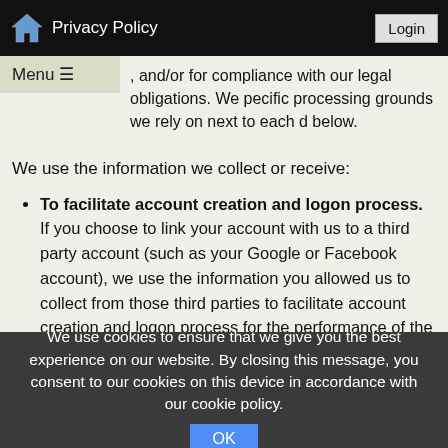Privacy Policy | Login
, and/or for compliance with our legal obligations. We pecific processing grounds we rely on next to each d below.
We use the information we collect or receive:
To facilitate account creation and logon process. If you choose to link your account with us to a third party account (such as your Google or Facebook account), we use the information you allowed us to collect from those third parties to facilitate account creation and logon process for the performance of the contract.
To send you marketing and promotional communications. We and/or our third-party marketing partners may use the personal information you send to us for our
We use cookies to ensure that we give you the best experience on our website. By closing this message, you consent to our cookies on this device in accordance with our cookie policy. OK